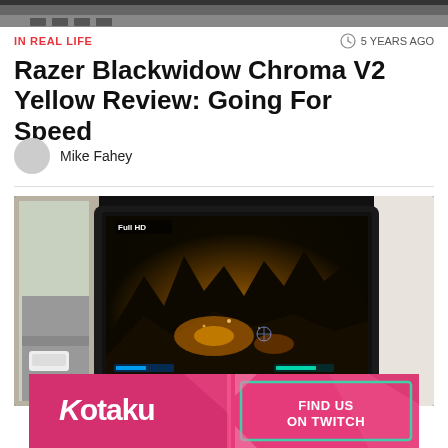[Figure (photo): Top cropped portion of a keyboard or device, dark background]
IN REAL LIFE
5 YEARS AGO
Razer Blackwidow Chroma V2 Yellow Review: Going For Speed
Mike Fahey
[Figure (photo): Photo of a laptop with a dark fantasy game displayed on screen (Full HD), placed near a window with a city street visible outside]
[Figure (other): Kotaku advertisement banner: Kotaku logo on left, 'FIND US ON TWITCH' on right, pink/magenta background with teal and pink geometric accents]